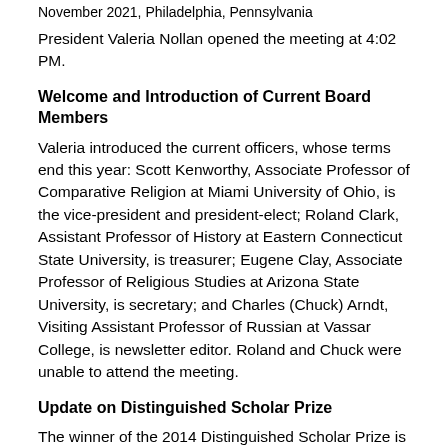November 2021, Philadelphia, Pennsylvania
President Valeria Nollan opened the meeting at 4:02 PM.
Welcome and Introduction of Current Board Members
Valeria introduced the current officers, whose terms end this year: Scott Kenworthy, Associate Professor of Comparative Religion at Miami University of Ohio, is the vice-president and president-elect; Roland Clark, Assistant Professor of History at Eastern Connecticut State University, is treasurer; Eugene Clay, Associate Professor of Religious Studies at Arizona State University, is secretary; and Charles (Chuck) Arndt, Visiting Assistant Professor of Russian at Vassar College, is newsletter editor. Roland and Chuck were unable to attend the meeting.
Update on Distinguished Scholar Prize
The winner of the 2014 Distinguished Scholar Prize is Valentina Izmirlieva for her article “Christian Hajjis—the Other Orthodox Pilgrims to Jerusalem.” Slavic Review 73, no. 2